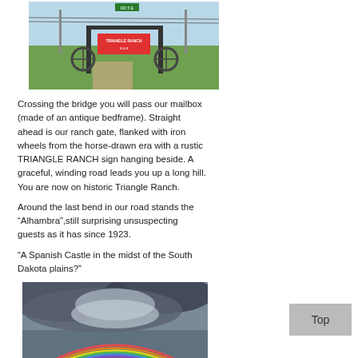[Figure (photo): Ranch gate with Triangle Ranch sign, iron wheels flanking the gate, green field in background, gravel road]
Crossing the bridge you will pass our mailbox (made of an antique bedframe). Straight ahead is our ranch gate, flanked with iron wheels from the horse-drawn era with a rustic TRIANGLE RANCH sign hanging beside. A graceful, winding road leads you up a long hill. You are now on historic Triangle Ranch.
Around the last bend in our road stands the "Alhambra",still surprising unsuspecting guests as it has since 1923.
"A Spanish Castle in the midst of the South Dakota plains?"
[Figure (photo): Dramatic sky with storm clouds and a rainbow appearing at the bottom of the frame]